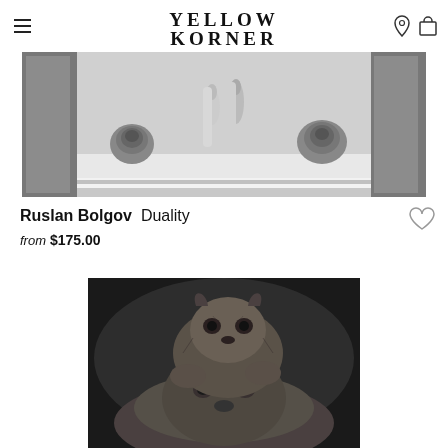YELLOW KORNER — PHOTOGRAPHY + ART + LIMITED EDITION
[Figure (photo): Black and white photograph of a shelf with decorative roses and sculptural torso figures, with mirrors on either side — artwork titled Duality by Ruslan Bolgov]
Ruslan Bolgov  Duality
from $175.00
[Figure (photo): Black and white close-up photograph of a lion cub resting on top of an adult lioness, both looking toward the camera]